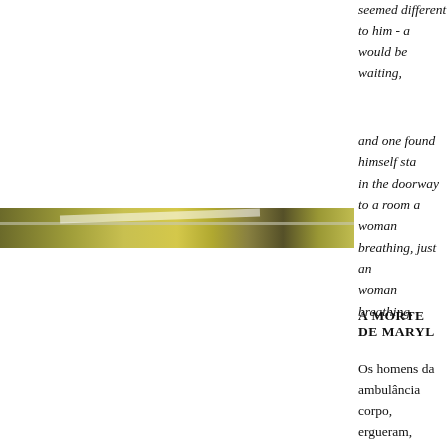seemed different to him - a
would be waiting,
and one found himself sta
in the doorway to a room a
woman breathing, just an
woman
breathing.
[Figure (photo): A horizontal strip photograph showing what appears to be an interior scene with yellow-green metallic or reflective surfaces.]
A MORTE DE MARYL
Os homens da ambulância
corpo, ergueram, pesado c
até a padiola, tentaram fec
a boca, cerraram os olhos,
braços ao lado, soltaram u
de cabelo presa, como se f
viram a forma dos seios, a